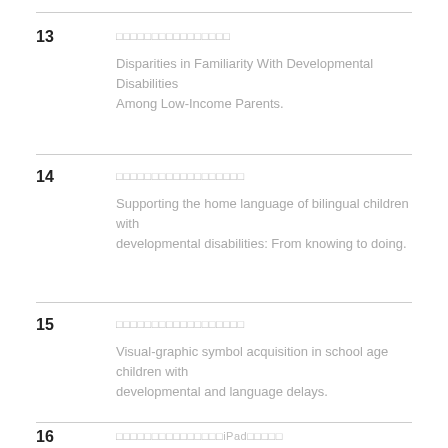13  [CJK characters]  Disparities in Familiarity With Developmental Disabilities Among Low-Income Parents.
14  [CJK characters]  Supporting the home language of bilingual children with developmental disabilities: From knowing to doing.
15  [CJK characters]  Visual-graphic symbol acquisition in school age children with developmental and language delays.
16  [CJK characters including iPad]